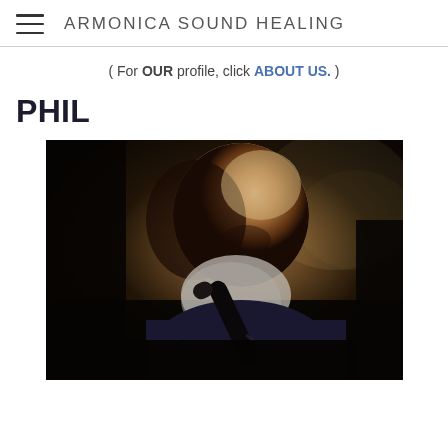ARMONICA SOUND HEALING
( For OUR profile, click ABOUT US. )
PHIL
[Figure (photo): A man with a shaved head and white beard playing or speaking into a microphone in a dark, moody photographic setting. The lighting is dramatic, illuminating the right side of his face.]